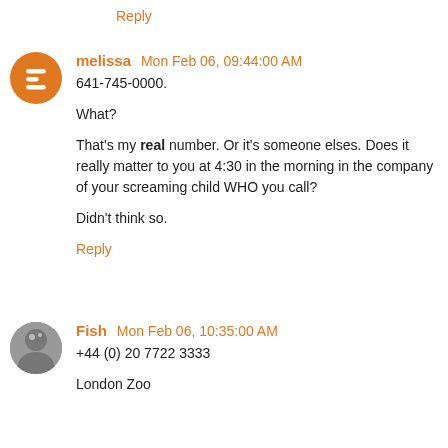Reply
melissa  Mon Feb 06, 09:44:00 AM
641-745-0000.

What?

That's my real number. Or it's someone elses. Does it really matter to you at 4:30 in the morning in the company of your screaming child WHO you call?

Didn't think so.
Reply
Fish  Mon Feb 06, 10:35:00 AM
+44 (0) 20 7722 3333

London Zoo